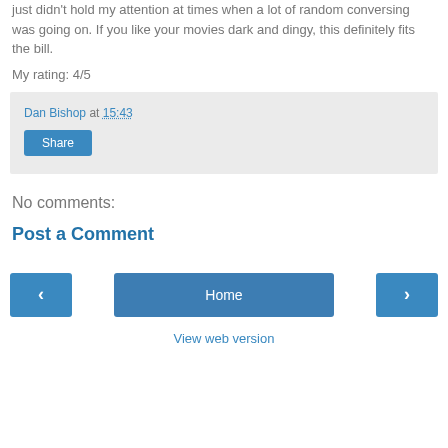just didn't hold my attention at times when a lot of random conversing was going on. If you like your movies dark and dingy, this definitely fits the bill.
My rating: 4/5
Dan Bishop at 15:43
Share
No comments:
Post a Comment
‹
Home
›
View web version